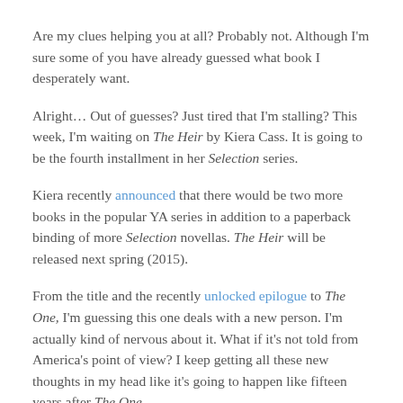Are my clues helping you at all? Probably not. Although I'm sure some of you have already guessed what book I desperately want.
Alright… Out of guesses? Just tired that I'm stalling? This week, I'm waiting on The Heir by Kiera Cass. It is going to be the fourth installment in her Selection series.
Kiera recently announced that there would be two more books in the popular YA series in addition to a paperback binding of more Selection novellas. The Heir will be released next spring (2015).
From the title and the recently unlocked epilogue to The One, I'm guessing this one deals with a new person. I'm actually kind of nervous about it. What if it's not told from America's point of view? I keep getting all these new thoughts in my head like it's going to happen like fifteen years after The One.